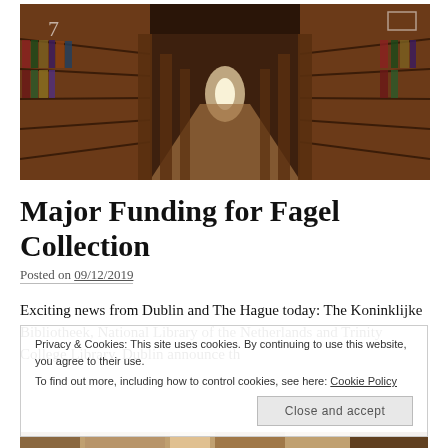[Figure (photo): Interior of a grand historic library with tall wooden bookshelves lining both sides of a long corridor, warm brown tones, ornate architecture.]
Major Funding for Fagel Collection
Posted on 09/12/2019
Exciting news from Dublin and The Hague today: The Koninklijke Bibliotheek, National Library of the Netherlands and Trinity College Library, Dublin announce th
Privacy & Cookies: This site uses cookies. By continuing to use this website, you agree to their use.
To find out more, including how to control cookies, see here: Cookie Policy
Close and accept
[Figure (photo): Partial view of images at the bottom of the page, partially cut off.]